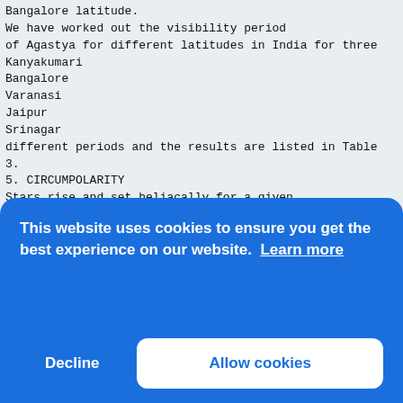Bangalore latitude.
We have worked out the visibility period
of Agastya for different latitudes in India for three
Kanyakumari
Bangalore
Varanasi
Jaipur
Srinagar
different periods and the results are listed in Table
3.
5. CIRCUMPOLARITY
Stars rise and set heliacally for a given
place on different dates in a year. In between the
heliacal setting and rising dates the star will not
be visible. On the other hand, in between the
heliacal rising and setting the star will be visible
in the sky. In the case of some stars, once it is set
heliacally on some day, for a long period it will
not be visible at all. This period of invisibility
can
be for several hundreds or thousands of years,
depe
the
is s
Tabl
lati
Year
Plac
Heli
Heli
500
Jamm
Varanasi (25°19')
[Figure (screenshot): Cookie consent overlay banner with blue background. Text reads 'This website uses cookies to ensure you get the best experience on our website. Learn more' with 'Decline' and 'Allow cookies' buttons.]